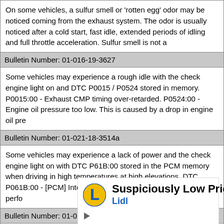On some vehicles, a sulfur smell or 'rotten egg' odor may be noticed coming from the exhaust system. The odor is usually noticed after a cold start, fast idle, extended periods of idling and full throttle acceleration. Sulfur smell is not a
Bulletin Number: 01-016-19-3627
Some vehicles may experience a rough idle with the check engine light on and DTC P0015 / P0524 stored in memory. P0015:00 - Exhaust CMP timing over-retarded. P0524:00 - Engine oil pressure too low. This is caused by a drop in engine oil pre
Bulletin Number: 01-021-18-3514a
Some vehicles may experience a lack of power and the check engine light on with DTC P61B:00 stored in the PCM memory when driving in high temperatures at high elevations. DTC P061B:00 - [PCM] Internal control module torque calculation perfo
Bulletin Number: 01-022-18-3528a
Some vehicles may exhibit an excessive body vibration/unusual noise when idling or driving after parking inextremely cold temperatures (-25℃/-13℉). NOTE: This excessive vibration does not occur if the engine mount rubber No.1 is over
[Figure (infographic): Lidl advertisement banner: Lidl logo (yellow circle with blue 'L' letter), text 'Suspiciously Low Prices', 'Lidl' in blue, navigation icon (blue diamond with white arrow), play and close controls.]